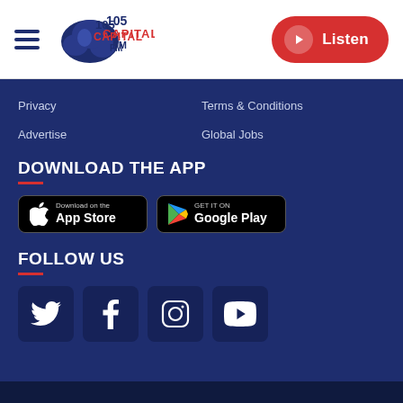[Figure (logo): Capital FM 105 radio station logo with blue microphone graphic and red/blue text]
[Figure (other): Listen button with red pill background and white play icon]
Privacy
Terms & Conditions
Advertise
Global Jobs
DOWNLOAD THE APP
[Figure (screenshot): App Store download button - Download on the App Store]
[Figure (screenshot): Google Play store button - GET IT ON Google Play]
FOLLOW US
[Figure (other): Social media icons: Twitter, Facebook, Instagram, YouTube]